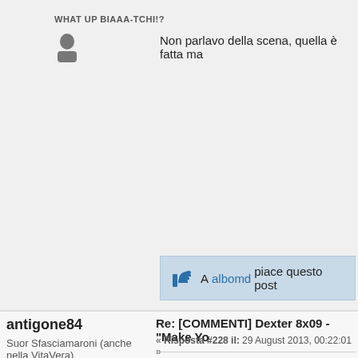WHAT UP BIAAA-TCHI!?
Non parlavo della scena, quella è fatta ma
A albomd piace questo post
antigone84
Suor Sfasciamaroni (anche nella VitaVera)
Piper Chapman
Re: [COMMENTI] Dexter 8x09 - "Make Yo
« Risposta #228 il: 29 August 2013, 00:22:01 »
Citazione da: pelminalto - 29 August 2013, 00:11:45
Non parlavo della scena, quella è fatta male